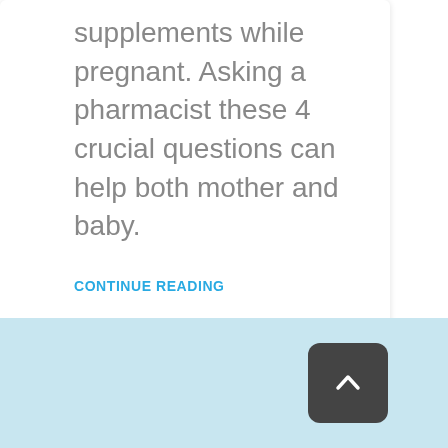supplements while pregnant. Asking a pharmacist these 4 crucial questions can help both mother and baby.
CONTINUE READING
[Figure (other): Back to top button — dark gray rounded square with upward chevron arrow icon, positioned in the light blue footer strip at bottom right]